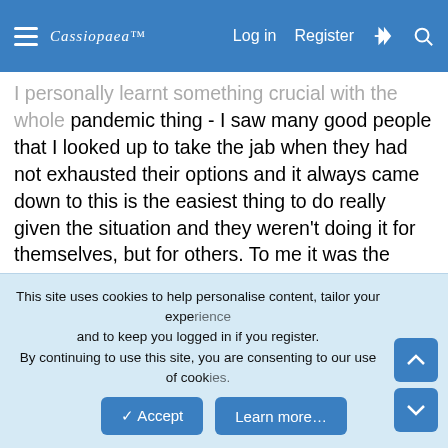Cassiopaea | Log in | Register
I personally learnt something crucial with the whole pandemic thing - I saw many good people that I looked up to take the jab when they had not exhausted their options and it always came down to this is the easiest thing to do really given the situation and they weren't doing it for themselves, but for others. To me it was the biggest signal I have ever seen that explains why the world is a messed up place - there's very little you can't make people do if you apply pressure on certain points. I mistakenly used to think there are certain lines "good" people would never cross and it would be nothing short of war if you dared asked them to cross those lines. Having said this, the whole thing showed there are people out there who are crazy enough never to cross certain lines and I suppose the same would apply to a
This site uses cookies to help personalise content, tailor your experience and to keep you logged in if you register.
By continuing to use this site, you are consenting to our use of cookies.
✓ Accept    Learn more…